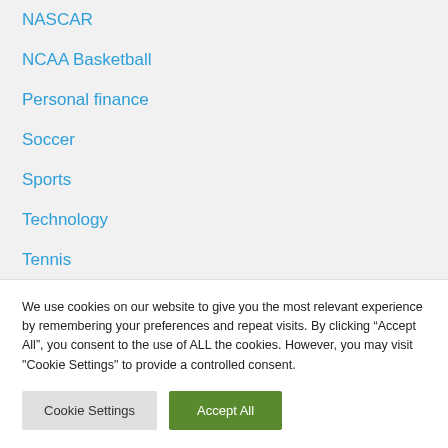NASCAR
NCAA Basketball
Personal finance
Soccer
Sports
Technology
Tennis
TV
Virtual reality
We use cookies on our website to give you the most relevant experience by remembering your preferences and repeat visits. By clicking “Accept All”, you consent to the use of ALL the cookies. However, you may visit "Cookie Settings" to provide a controlled consent.
Cookie Settings | Accept All